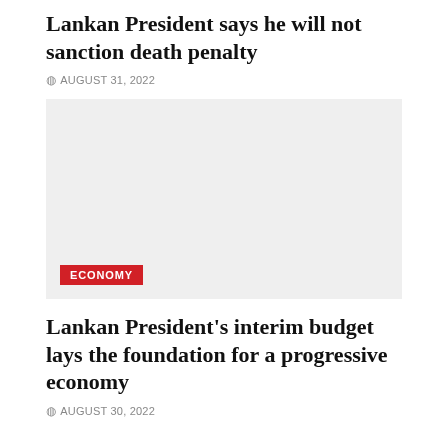Lankan President says he will not sanction death penalty
AUGUST 31, 2022
[Figure (photo): Gray placeholder image with ECONOMY category tag in red at bottom left]
Lankan President's interim budget lays the foundation for a progressive economy
AUGUST 30, 2022